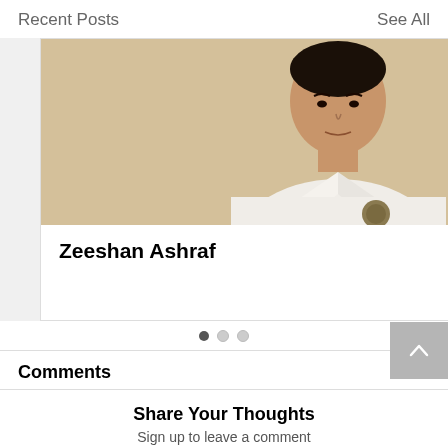Recent Posts
See All
[Figure (photo): A man wearing a white karate gi (martial arts uniform) with a badge/patch on it, standing against a beige/cream wall. The card also shows the text 'Zeeshan Ashraf' below the photo.]
Zeeshan Ashraf
Comments
Share Your Thoughts
Sign up to leave a comment